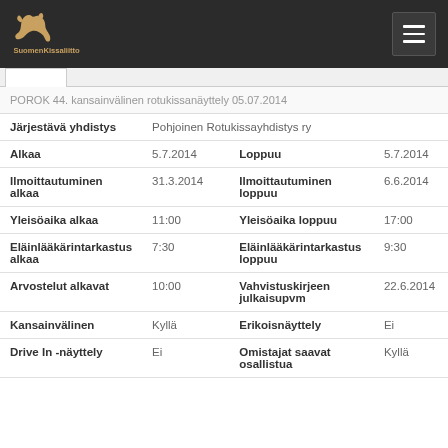SuomenKissaliitto
POROK 44. kansainvälinen rotukissanäyttely 05.07.2014
|  |  |  |  |
| --- | --- | --- | --- |
| Järjestävä yhdistys | Pohjoinen Rotukissayhdistys ry |  |  |
| Alkaa | 5.7.2014 | Loppuu | 5.7.2014 |
| Ilmoittautuminen alkaa | 31.3.2014 | Ilmoittautuminen loppuu | 6.6.2014 |
| Yleisöaika alkaa | 11:00 | Yleisöaika loppuu | 17:00 |
| Eläinlääkärintarkastus alkaa | 7:30 | Eläinlääkärintarkastus loppuu | 9:30 |
| Arvostelut alkavat | 10:00 | Vahvistuskirjeen julkaisupvm | 22.6.2014 |
| Kansainvälinen | Kyllä | Erikoisnäyttely | Ei |
| Drive In -näyttely | Ei | Omistajat saavat osallistua | Kyllä |